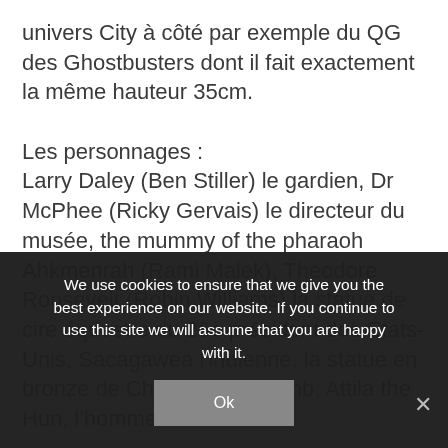univers City à côté par exemple du QG des Ghostbusters dont il fait exactement la même hauteur 35cm.

Les personnages :
Larry Daley (Ben Stiller) le gardien, Dr McPhee (Ricky Gervais) le directeur du musée, the mummy of the pharaoh Ahkmenrah (Rami Malek), Theodore Roosevelt (Robin Williams) la statue de cire équestre du 26e président des États-Unis, Sacagawea l'indienne, la statue en bronze de Christophe Colomb, Attila the Hun, l'homme de
We use cookies to ensure that we give you the best experience on our website. If you continue to use this site we will assume that you are happy with it.